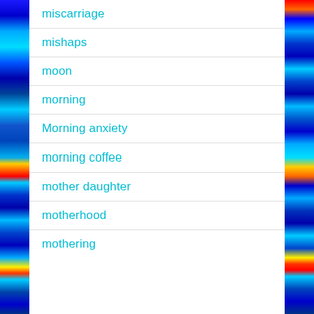miscarriage
mishaps
moon
morning
Morning anxiety
morning coffee
mother daughter
motherhood
mothering